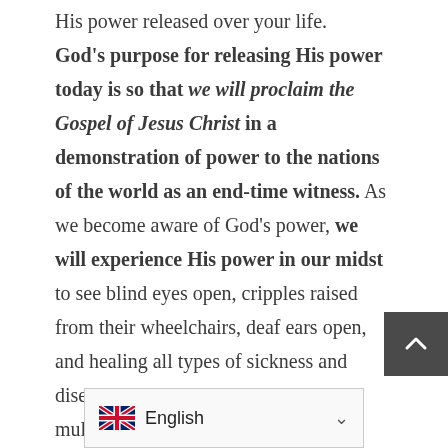His power released over your life. God's purpose for releasing His power today is so that we will proclaim the Gospel of Jesus Christ in a demonstration of power to the nations of the world as an end-time witness. As we become aware of God's power, we will experience His power in our midst to see blind eyes open, cripples raised from their wheelchairs, deaf ears open, and healing all types of sickness and disease. People will come by the multitudes to hear and see the mighty works of God. God has planned for you to be part of this great outpouring. He wants to send